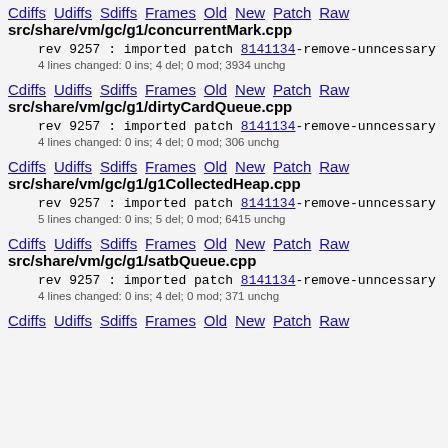Cdiffs Udiffs Sdiffs Frames Old New Patch Raw
src/share/vm/gc/g1/concurrentMark.cpp
rev 9257 : imported patch 8141134-remove-unncessary
4 lines changed: 0 ins; 4 del; 0 mod; 3934 unchg
Cdiffs Udiffs Sdiffs Frames Old New Patch Raw
src/share/vm/gc/g1/dirtyCardQueue.cpp
rev 9257 : imported patch 8141134-remove-unncessary
4 lines changed: 0 ins; 4 del; 0 mod; 306 unchg
Cdiffs Udiffs Sdiffs Frames Old New Patch Raw
src/share/vm/gc/g1/g1CollectedHeap.cpp
rev 9257 : imported patch 8141134-remove-unncessary
5 lines changed: 0 ins; 5 del; 0 mod; 6415 unchg
Cdiffs Udiffs Sdiffs Frames Old New Patch Raw
src/share/vm/gc/g1/satbQueue.cpp
rev 9257 : imported patch 8141134-remove-unncessary
4 lines changed: 0 ins; 4 del; 0 mod; 371 unchg
Cdiffs Udiffs Sdiffs Frames Old New Patch Raw